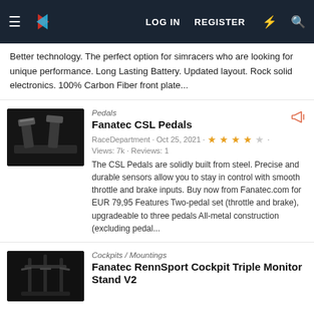LR LOG IN REGISTER
Better technology. The perfect option for simracers who are looking for unique performance. Long Lasting Battery. Updated layout. Rock solid electronics. 100% Carbon Fiber front plate...
Pedals
Fanatec CSL Pedals
RaceDepartment · Oct 25, 2021 · ★★★★☆ · Views: 7k · Reviews: 1
The CSL Pedals are solidly built from steel. Precise and durable sensors allow you to stay in control with smooth throttle and brake inputs. Buy now from Fanatec.com for EUR 79,95 Features Two-pedal set (throttle and brake), upgradeable to three pedals All-metal construction (excluding pedal...
Cockpits / Mountings
Fanatec RennSport Cockpit Triple Monitor Stand V2